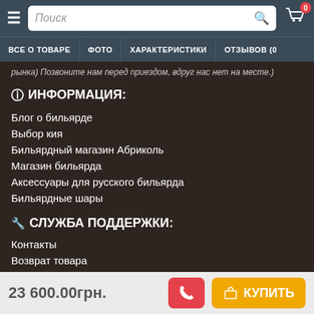Поиск | ВСЕ О ТОВАРЕ | ФОТО | ХАРАКТЕРИСТИКИ | ОТЗЫВОВ (0)
рынка) Позвоните нам перед приездом, вдруг нас нет на месте.)
ℹ ИНФОРМАЦИЯ:
Блог о бильярде
Выбор кия
Бильярдный магазин Абриколь
Магазин бильярда
Аксессуары для русского бильярда
Бильярдные шары
🔧 СЛУЖБА ПОДДЕРЖКИ:
Контакты
Возврат товара
Карта сайта
Гарантии и возврат
23 600.00грн. | КУПИТЬ